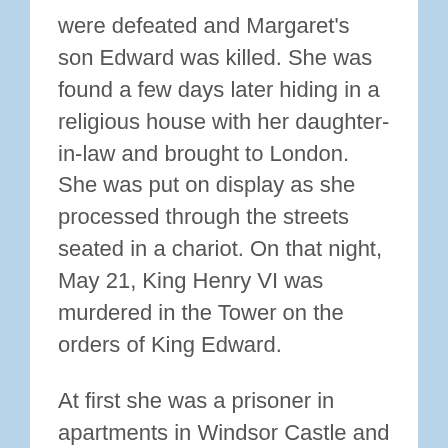were defeated and Margaret's son Edward was killed. She was found a few days later hiding in a religious house with her daughter-in-law and brought to London. She was put on display as she processed through the streets seated in a chariot. On that night, May 21, King Henry VI was murdered in the Tower on the orders of King Edward.
At first she was a prisoner in apartments in Windsor Castle and then in the Tower. Later she was sent to Wallingford Castle in the care of Alice Chaucer, dowager Duchess of Suffolk for four years. In 1475 she became the subject of terms in the Treaty of Picquigny between Edward IV and Louis XI. Louis agreed to a ransom of fifty thousand crowns to King Edward IV. She was forced to renounce all her claims to the throne. She returned to France and was forced to renounce all her rights to her inheritance of both